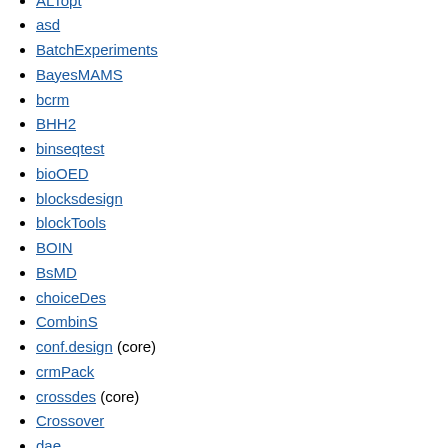ALTopt
asd
BatchExperiments
BayesMAMS
bcrm
BHH2
binseqtest
bioOED
blocksdesign
blockTools
BOIN
BsMD
choiceDes
CombinS
conf.design (core)
crmPack
crossdes (core)
Crossover
dae
daewr
designGG
designGLMM
designmatch
desirability
desplot